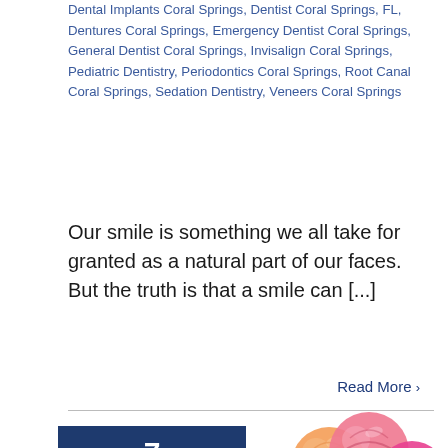Dental Implants Coral Springs, Dentist Coral Springs, FL, Dentures Coral Springs, Emergency Dentist Coral Springs, General Dentist Coral Springs, Invisalign Coral Springs, Pediatric Dentistry, Periodontics Coral Springs, Root Canal Coral Springs, Sedation Dentistry, Veneers Coral Springs
Our smile is something we all take for granted as a natural part of our faces. But the truth is that a smile can [...]
Read More >
[Figure (other): Date card showing '7' in large white text on dark blue background, with '09, 2019' below it, followed by a light gray area with a pen/quill icon, and an accessibility icon (person in circle) in the bottom left.]
[Figure (photo): Three colorful lollipops (orange, pink-red, hot pink) with yellow sticks against a white background.]
[Figure (other): Call widget placeholder image labeled 'Call' and a reCAPTCHA widget showing a checkmark logo with 'Privacy - Terms' text.]